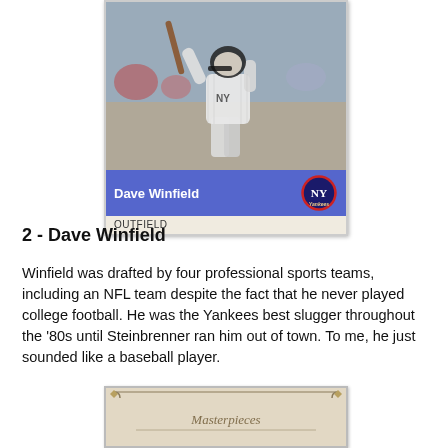[Figure (photo): 1984 Fleer baseball card of Dave Winfield in New York Yankees uniform, swinging a bat. Card has blue name bar reading 'Dave Winfield' with Yankees logo, and 'OUTFIELD' position label below.]
2 - Dave Winfield
Winfield was drafted by four professional sports teams, including an NFL team despite the fact that he never played college football. He was the Yankees best slugger throughout the '80s until Steinbrenner ran him out of town. To me, he just sounded like a baseball player.
[Figure (photo): Partial view of a second baseball card with ornate golden border design, partially visible at the bottom of the page.]